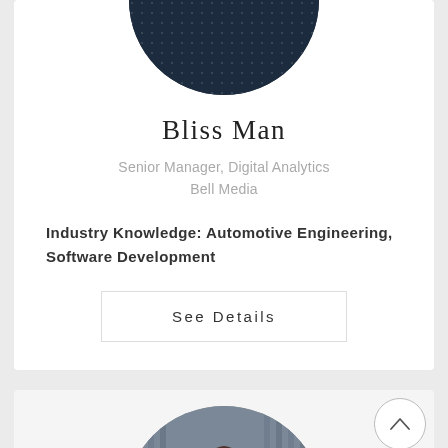[Figure (photo): Cropped bottom half of a circular profile photo showing a person in a dark navy patterned jacket, cut off at the top of the card]
Bliss Man
Senior Manager, Digital Analytics
Bell Media
Industry Knowledge: Automotive Engineering, Software Development
See Details
[Figure (photo): Circular profile photo of a young woman with long brown hair, partial view showing face and upper body, background appears to be an office or urban setting with vertical lines]
[Figure (other): Circular scroll-up navigation button with an upward pointing chevron/caret symbol]